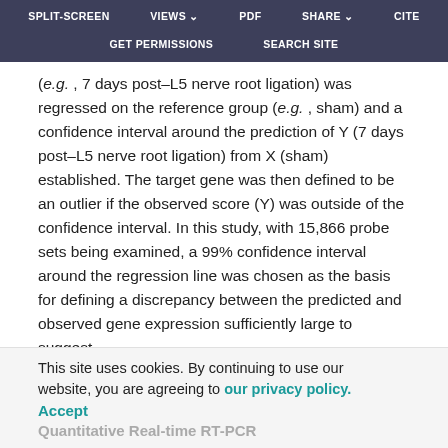SPLIT-SCREEN   VIEWS   PDF   SHARE   CITE   GET PERMISSIONS   SEARCH SITE
(e.g. , 7 days post–L5 nerve root ligation) was regressed on the reference group (e.g. , sham) and a confidence interval around the prediction of Y (7 days post–L5 nerve root ligation) from X (sham) established. The target gene was then defined to be an outlier if the observed score (Y) was outside of the confidence interval. In this study, with 15,866 probe sets being examined, a 99% confidence interval around the regression line was chosen as the basis for defining a discrepancy between the predicted and observed gene expression sufficiently large to suggest differential gene expression. All analyses were performed using SAS version 9.1 (SAS Institute Inc., Cary, NC).
This site uses cookies. By continuing to use our website, you are agreeing to our privacy policy. Accept
Quantitative Real-time RT-PCR